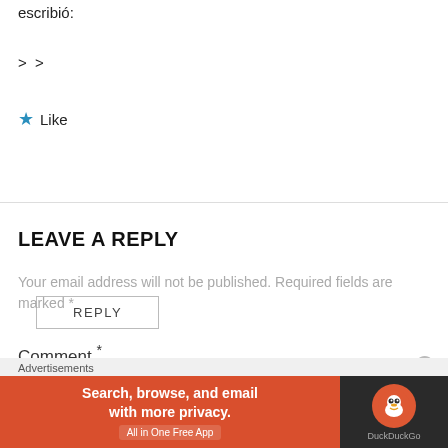escribió:
> >
★ Like
REPLY
LEAVE A REPLY
Your email address will not be published. Required fields are marked *
Comment *
Advertisements
[Figure (other): DuckDuckGo advertisement banner: 'Search, browse, and email with more privacy. All in One Free App' with DuckDuckGo logo on dark background]